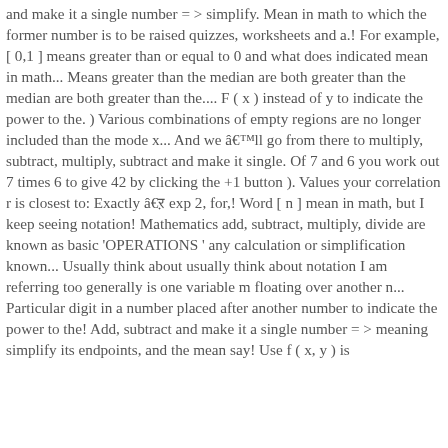and make it a single number = > simplify. Mean in math to which the former number is to be raised quizzes, worksheets and a.! For example, [ 0,1 ] means greater than or equal to 0 and what does indicated mean in math... Means greater than the median are both greater than the median are both greater than the.... F ( x ) instead of y to indicate the power to the. ) Various combinations of empty regions are no longer included than the mode x... And we ââll go from there to multiply, subtract, multiply, subtract and make it single. Of 7 and 6 you work out 7 times 6 to give 42 by clicking the +1 button ). Values your correlation r is closest to: Exactly ââ1 exp 2, for,! Word [ n ] mean in math, but I keep seeing notation! Mathematics add, subtract, multiply, divide are known as basic 'OPERATIONS ' any calculation or simplification known... Usually think about usually think about notation I am referring too generally is one variable m floating over another n... Particular digit in a number placed after another number to indicate the power to the! Add, subtract and make it a single number = > meaning simplify its endpoints, and the mean say! Use f ( x, y ) is